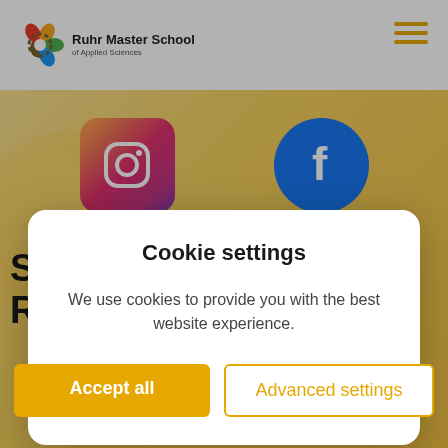Ruhr Master School of Applied Sciences
[Figure (logo): Ruhr Master School of Applied Sciences logo with colorful swirl icon]
[Figure (logo): Instagram logo icon]
[Figure (logo): Facebook logo icon]
Summer School Reviews
Cookie settings
We use cookies to provide you with the best website experience.
Accept all
Advanced settings